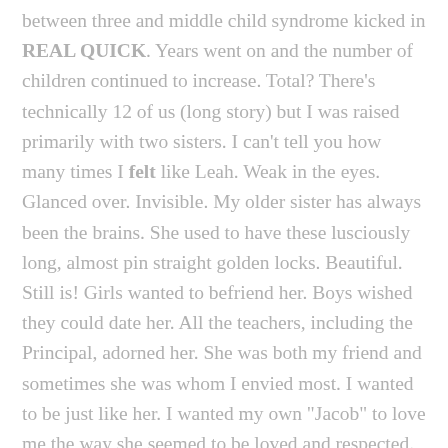between three and middle child syndrome kicked in REAL QUICK. Years went on and the number of children continued to increase. Total? There's technically 12 of us (long story) but I was raised primarily with two sisters. I can't tell you how many times I felt like Leah. Weak in the eyes. Glanced over. Invisible. My older sister has always been the brains. She used to have these lusciously long, almost pin straight golden locks. Beautiful. Still is! Girls wanted to befriend her. Boys wished they could date her. All the teachers, including the Principal, adorned her. She was both my friend and sometimes she was whom I envied most. I wanted to be just like her. I wanted my own "Jacob" to love me the way she seemed to be loved and respected. Then you have my younger sister. Cute as a button. She couldn't do any wrong... even though she was basically the spawn of satan our first years of life (we're fine now I promise). She was the one who got to keep my Princess Jasmine movie and bracelet, because her name Jasmine. She was the one who got to keep